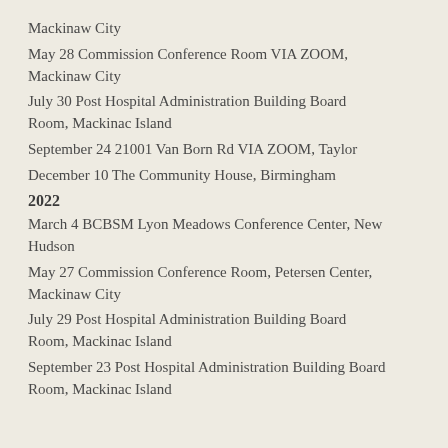Mackinaw City
May 28 Commission Conference Room VIA ZOOM, Mackinaw City
July 30 Post Hospital Administration Building Board Room, Mackinac Island
September 24 21001 Van Born Rd VIA ZOOM, Taylor
December 10 The Community House, Birmingham
2022
March 4 BCBSM Lyon Meadows Conference Center, New Hudson
May 27 Commission Conference Room, Petersen Center, Mackinaw City
July 29 Post Hospital Administration Building Board Room, Mackinac Island
September 23 Post Hospital Administration Building Board Room, Mackinac Island